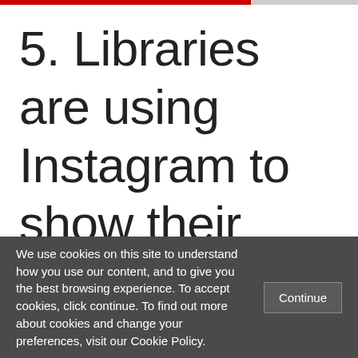5. Libraries are using Instagram to show their history
We use cookies on this site to understand how you use our content, and to give you the best browsing experience. To accept cookies, click continue. To find out more about cookies and change your preferences, visit our Cookie Policy.